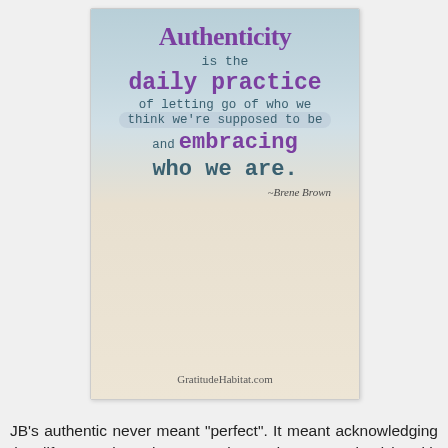[Figure (illustration): Inspirational quote card with gradient background (blue-grey to beige) featuring quote text in purple and teal typewriter font: 'Authenticity is the daily practice of letting go of who we think we're supposed to be and embracing who we are.' attributed to Brene Brown. Website GratitudeHabitat.com at bottom.]
JB's authentic never meant "perfect". It meant acknowledging that life sometimes has struggles and regrets mixed in with the successes and celebrations. This authentic means being honest, and genuine, and truthful...even when life is difficult. This authentic is one of integrity and vulnerability and transparency. It means being fearless in